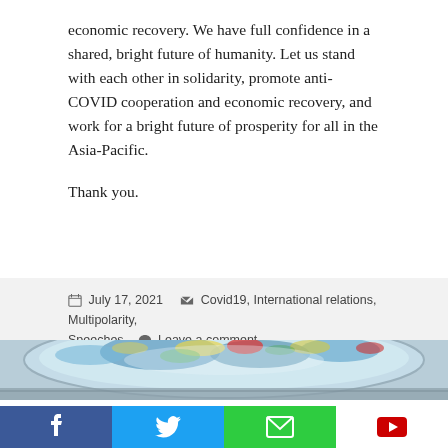economic recovery. We have full confidence in a shared, bright future of humanity. Let us stand with each other in solidarity, promote anti-COVID cooperation and economic recovery, and work for a bright future of prosperity for all in the Asia-Pacific.
Thank you.
July 17, 2021   Covid19, International relations, Multipolarity, Speeches   Leave a comment
[Figure (photo): Colorful ceiling mural viewed from below, appearing to be inside an international organization building, with vibrant blue, red, yellow and white patterns.]
[Figure (infographic): Social media sharing bar with four buttons: Facebook (blue), Twitter (blue), Email (green), YouTube (white with red icon).]